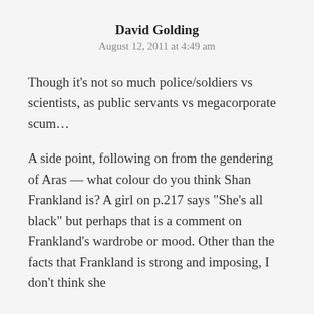David Golding
August 12, 2011 at 4:49 am
Though it’s not so much police/soldiers vs scientists, as public servants vs megacorporate scum…
A side point, following on from the gendering of Aras — what colour do you think Shan Frankland is? A girl on p.217 says “She’s all black” but perhaps that is a comment on Frankland’s wardrobe or mood. Other than the facts that Frankland is strong and imposing, I don’t think she